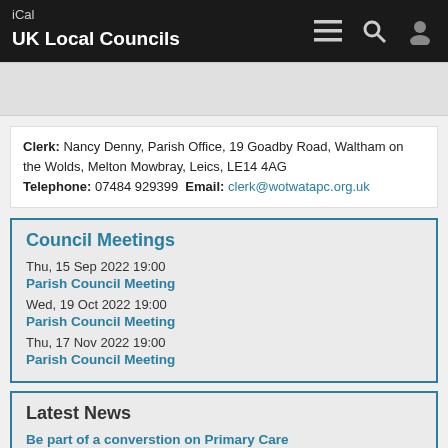iCal UK Local Councils
Clerk: Nancy Denny, Parish Office, 19 Goadby Road, Waltham on the Wolds, Melton Mowbray, Leics, LE14 4AG Telephone: 07484 929399 Email: clerk@wotwatapc.org.uk
Council Meetings
Thu, 15 Sep 2022 19:00 Parish Council Meeting
Wed, 19 Oct 2022 19:00 Parish Council Meeting
Thu, 17 Nov 2022 19:00 Parish Council Meeting
Latest News
Be part of a converstion on Primary Care